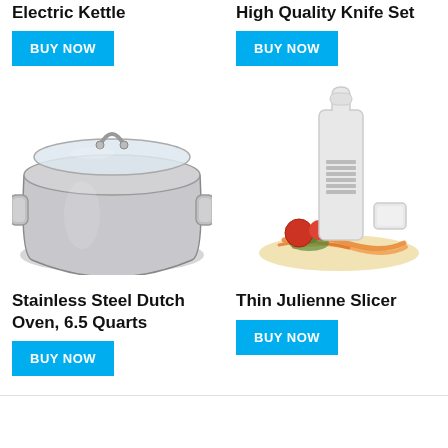Electric Kettle
BUY NOW
High Quality Knife Set
BUY NOW
[Figure (photo): Stainless steel Dutch oven with glass lid]
[Figure (photo): White thin julienne slicer with vegetables]
Stainless Steel Dutch Oven, 6.5 Quarts
BUY NOW
Thin Julienne Slicer
BUY NOW